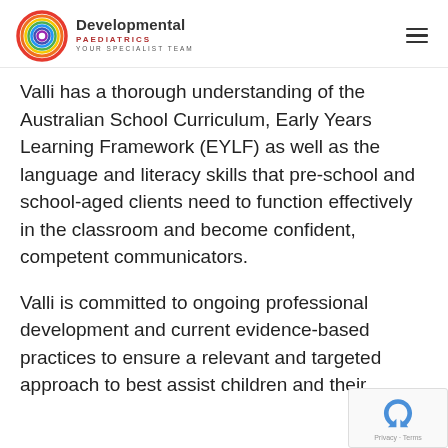Developmental Paediatrics — Your Specialist Team
Valli has a thorough understanding of the Australian School Curriculum, Early Years Learning Framework (EYLF) as well as the language and literacy skills that pre-school and school-aged clients need to function effectively in the classroom and become confident, competent communicators.
Valli is committed to ongoing professional development and current evidence-based practices to ensure a relevant and targeted approach to best assist children and their
[Figure (logo): reCAPTCHA badge with Privacy - Terms text]